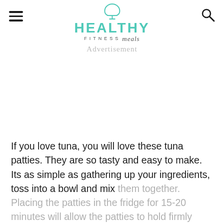[Figure (logo): Healthy Fitness Meals logo with teal chef hat icon and teal HEALTHY text, FITNESS meals subtitle]
Advertisement
If you love tuna, you will love these tuna patties. They are so tasty and easy to make. Its as simple as gathering up your ingredients, toss into a bowl and mix them together. Placing the patties in the fridge for 15-20 minutes will allow the patties to hold firmly together while